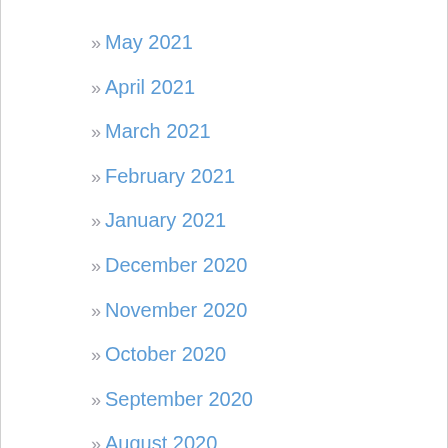» May 2021
» April 2021
» March 2021
» February 2021
» January 2021
» December 2020
» November 2020
» October 2020
» September 2020
» August 2020
» July 2020
» May 2020
» April 2020
» March 2020
» February 2020